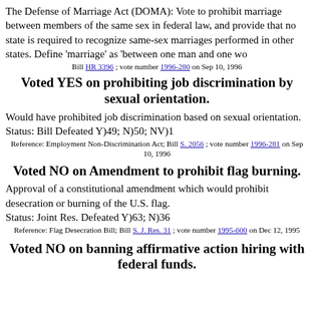The Defense of Marriage Act (DOMA): Vote to prohibit marriage between members of the same sex in federal law, and provide that no state is required to recognize same-sex marriages performed in other states. Define 'marriage' as 'between one man and one wo
Bill HR 3396 ; vote number 1996-280 on Sep 10, 1996
Voted YES on prohibiting job discrimination by sexual orientation.
Would have prohibited job discrimination based on sexual orientation.
Status: Bill Defeated Y)49; N)50; NV)1
Reference: Employment Non-Discrimination Act; Bill S. 2056 ; vote number 1996-281 on Sep 10, 1996
Voted NO on Amendment to prohibit flag burning.
Approval of a constitutional amendment which would prohibit desecration or burning of the U.S. flag.
Status: Joint Res. Defeated Y)63; N)36
Reference: Flag Desecration Bill; Bill S. J. Res. 31 ; vote number 1995-600 on Dec 12, 1995
Voted NO on banning affirmative action hiring with federal funds.